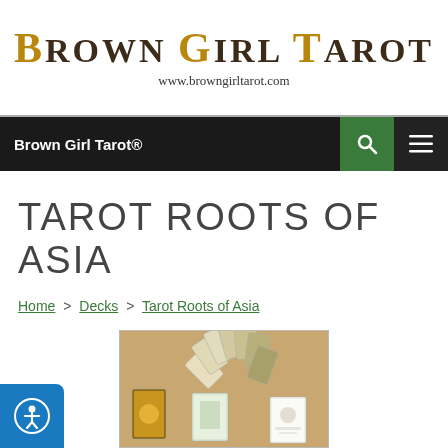Brown Girl Tarot
www.browngirltarot.com
Brown Girl Tarot®
TAROT ROOTS OF ASIA
Home > Decks > Tarot Roots of Asia
[Figure (photo): Photo of Tarot Roots of Asia deck showing fanned tarot cards and several individual cards including the box set, spread on a tan background]